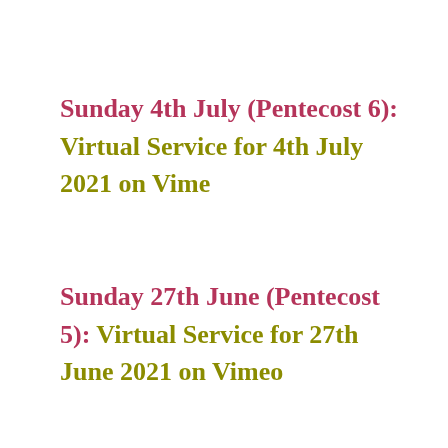Sunday 4th July (Pentecost 6): Virtual Service for 4th July 2021 on Vime
Sunday 27th June (Pentecost 5): Virtual Service for 27th June 2021 on Vimeo